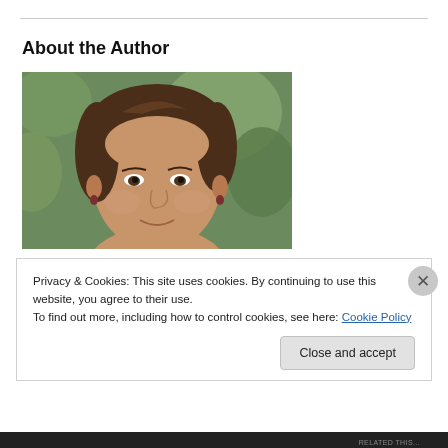About the Author
[Figure (photo): Headshot of a middle-aged woman with brown hair, smiling, outdoors with green foliage in background.]
Privacy & Cookies: This site uses cookies. By continuing to use this website, you agree to their use.
To find out more, including how to control cookies, see here: Cookie Policy
Close and accept